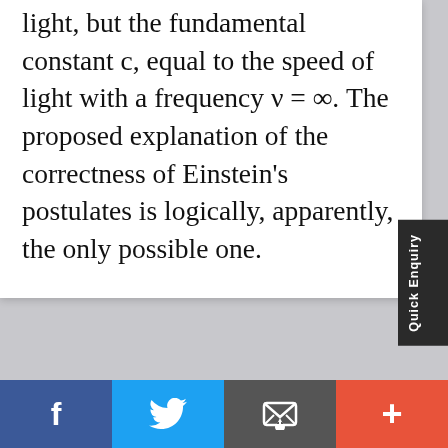light, but the fundamental constant c, equal to the speed of light with a frequency ν = ∞. The proposed explanation of the correctness of Einstein's postulates is logically, apparently, the only possible one.
+ Indexing and Abstracting
Export Citation   CrossMark   Publons
Submit your next article Peertechz Publications, also join of our fulfilled creators. Submit a Manuscript